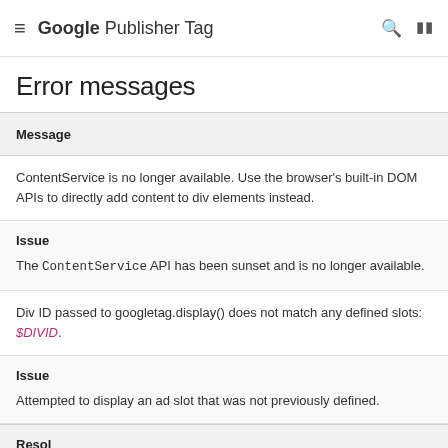Google Publisher Tag
Error messages
| Message |
| --- |
| ContentService is no longer available. Use the browser's built-in DOM APIs to directly add content to div elements instead. | Issue
The ContentService API has been sunset and is no longer available. |
| Div ID passed to googletag.display() does not match any defined slots: $DIVID. | Issue
Attempted to display an ad slot that was not previously defined. |